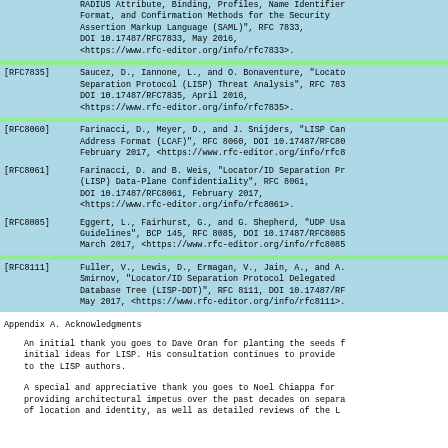[RFC7833] RADIUS Attribute, Binding, Profiles, Name Identifier Format, and Confirmation Methods for the Security Assertion Markup Language (SAML)", RFC 7833, DOI 10.17487/RFC7833, May 2016, <https://www.rfc-editor.org/info/rfc7833>.
[RFC7835] Saucez, D., Iannone, L., and O. Bonaventure, "Locator/ID Separation Protocol (LISP) Threat Analysis", RFC 7835, DOI 10.17487/RFC7835, April 2016, <https://www.rfc-editor.org/info/rfc7835>.
[RFC8060] Farinacci, D., Meyer, D., and J. Snijders, "LISP Canonical Address Format (LCAF)", RFC 8060, DOI 10.17487/RFC8060, February 2017, <https://www.rfc-editor.org/info/rfc8060>.
[RFC8061] Farinacci, D. and B. Weis, "Locator/ID Separation Protocol (LISP) Data-Plane Confidentiality", RFC 8061, DOI 10.17487/RFC8061, February 2017, <https://www.rfc-editor.org/info/rfc8061>.
[RFC8085] Eggert, L., Fairhurst, G., and G. Shepherd, "UDP Usage Guidelines", BCP 145, RFC 8085, DOI 10.17487/RFC8085, March 2017, <https://www.rfc-editor.org/info/rfc8085>.
[RFC8111] Fuller, V., Lewis, D., Ermagan, V., Jain, A., and A. Smirnov, "Locator/ID Separation Protocol Delegated Database Tree (LISP-DDT)", RFC 8111, DOI 10.17487/RFC8111, May 2017, <https://www.rfc-editor.org/info/rfc8111>.
Appendix A.  Acknowledgments
An initial thank you goes to Dave Oran for planting the seeds for initial ideas for LISP.  His consultation continues to provide value to the LISP authors.
A special and appreciative thank you goes to Noel Chiappa for providing architectural impetus over the past decades on separation of location and identity, as well as detailed reviews of the LISP